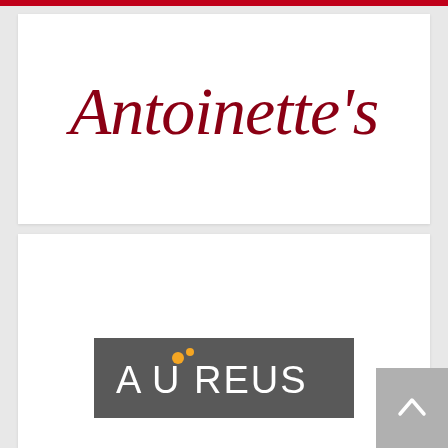[Figure (logo): Antoinette's cursive script logo in dark red/crimson color on white background]
[Figure (logo): Aureus logo: white sans-serif text on dark grey/charcoal rectangle background, with orange dot accent above the U]